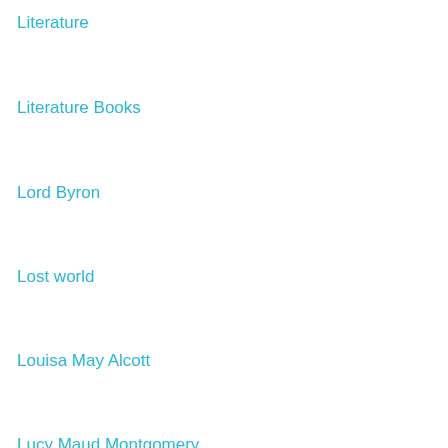Literature
Literature Books
Lord Byron
Lost world
Louisa May Alcott
Lucy Maud Montgomery
Luís de Camões
Lyric poetry
Lytton Strachey
Macaulay
Magic Books
Manual Books
Margaret Murray